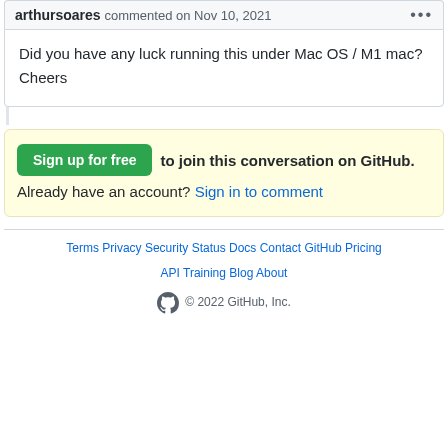arthursoares commented on Nov 10, 2021
Did you have any luck running this under Mac OS / M1 mac?
Cheers
Sign up for free to join this conversation on GitHub.
Already have an account? Sign in to comment
Terms · Privacy · Security · Status · Docs · Contact GitHub · Pricing · API · Training · Blog · About
© 2022 GitHub, Inc.